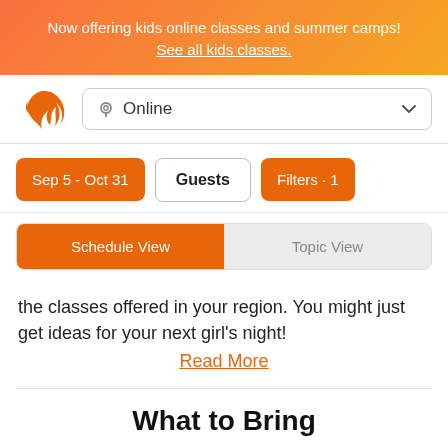Now offering kids online classes and summer camps!
See all kids classes.
[Figure (logo): Orange flame/swirl logo]
Online
Sep 5 - Oct 31
Guests
Filters · 1
Schedule View
Topic View
the classes offered in your region. You might just get ideas for your next girl's night!
Read More
What to Bring
Simply bring yourself and the willingness to have a